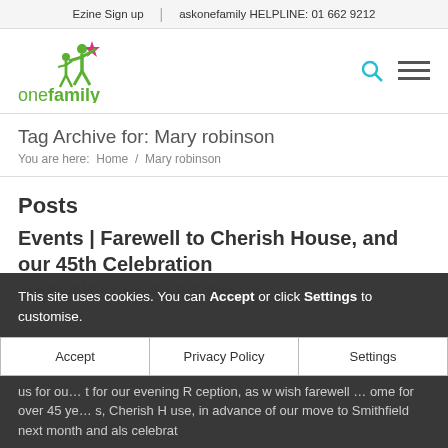Ezine Sign up | askonefamily HELPLINE: 01 662 9212
[Figure (logo): onefamily logo with green figure and pink star, text 'onefamily' in green]
Tag Archive for: Mary robinson
You are here: Home / Mary robinson
Posts
Events | Farewell to Cherish House, and our 45th Celebration
June 29, 2017  /  in Events  /  by Comms
This site uses cookies. You can Accept or click Settings to customise.
us for ou... t for our evening R ception, as w wish farewell ... ome for over 45 ye... s, Cherish H use, in advance of our move to Smithfield next month and als celebrat